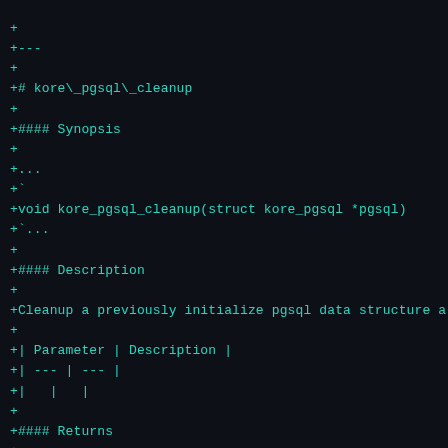+
+---
+
+# kore\_pgsql\_cleanup
+
+#### Synopsis
+
+...
+`
+void kore_pgsql_cleanup(struct kore_pgsql *pgsql)
+`...
+
+#### Description
+
+Cleanup a previously initialize pgsql data structure a
+
+| Parameter | Description |
+| --- | --- |
+|   |   |
+
+#### Returns
+
+Nothing
+
+---
+
+# kore\_pgsql\_logerror
+
+#### Synopsis
+
+...
+`...